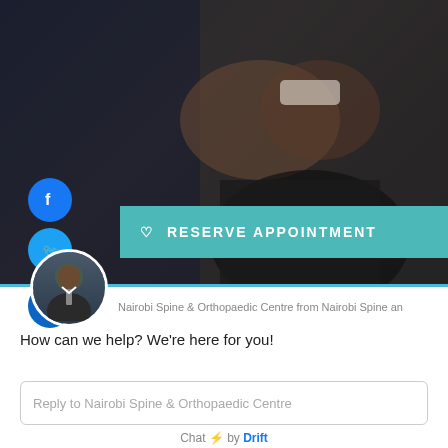[Figure (photo): Dark background photo of two people shaking hands, with one person in a dark suit and another in a white shirt sleeve, overlaid with social share buttons and a teal appointment button.]
RESERVE APPOINTMENT
Nairobi Spine & Orthopaedic Centre from Nairobi Spine an
How can we help? We're here for you!
Reply to Nairobi Spine & Orthopaedic Centre
Chat ⚡ by Drift